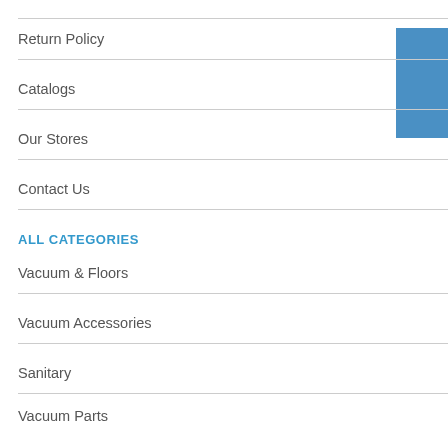Return Policy
Catalogs
Our Stores
Contact Us
ALL CATEGORIES
Vacuum & Floors
Vacuum Accessories
Sanitary
Vacuum Parts
Replacement Parts
INFORMATIONS
Johnny Vac Inc.
8581 Place Marien